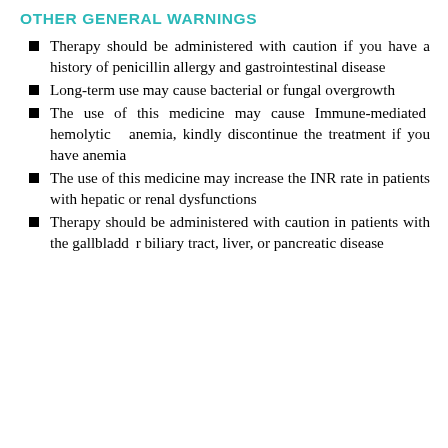OTHER GENERAL WARNINGS
Therapy should be administered with caution if you have a history of penicillin allergy and gastrointestinal disease
Long-term use may cause bacterial or fungal overgrowth
The use of this medicine may cause Immune-mediated hemolytic anemia, kindly discontinue the treatment if you have anemia
The use of this medicine may increase the INR rate in patients with hepatic or renal dysfunctions
Therapy should be administered with caution in patients with the gallbladder biliary tract, liver, or pancreatic disease